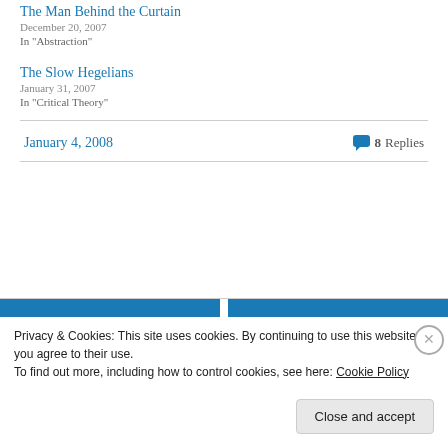The Man Behind the Curtain
December 20, 2007
In "Abstraction"
The Slow Hegelians
January 31, 2007
In "Critical Theory"
January 4, 2008   8 Replies
Privacy & Cookies: This site uses cookies. By continuing to use this website, you agree to their use.
To find out more, including how to control cookies, see here: Cookie Policy